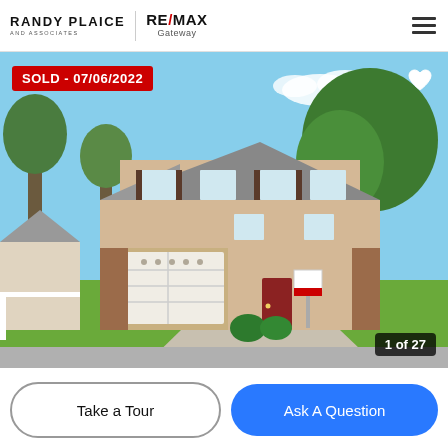RANDY PLAICE AND ASSOCIATES | RE/MAX Gateway
[Figure (photo): Exterior photo of a two-story suburban house with brick accents, white garage door, large oak tree in front yard, green lawn, and a real estate sign. Red 'SOLD - 07/06/2022' overlay badge top-left, heart icon top-right, '1 of 27' counter bottom-right.]
Take a Tour
Ask A Question